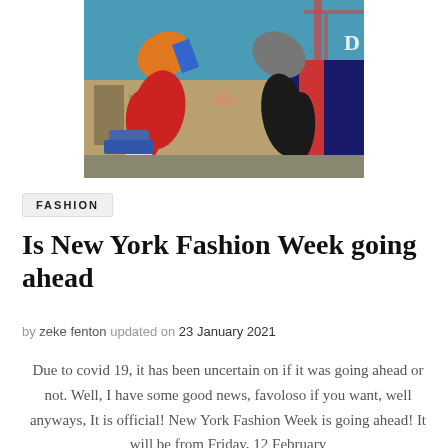[Figure (photo): Two people leaning toward each other holding hands, wearing colorful streetwear (red baggy pants, orange hoodie, blue pants, grey jacket), outdoor urban setting with blue sky and industrial background]
FASHION
Is New York Fashion Week going ahead
by zeke fenton updated on 23 January 2021
Due to covid 19, it has been uncertain on if it was going ahead or not. Well, I have some good news, favoloso if you want, well anyways, It is official! New York Fashion Week is going ahead! It will be from Friday, 12 February